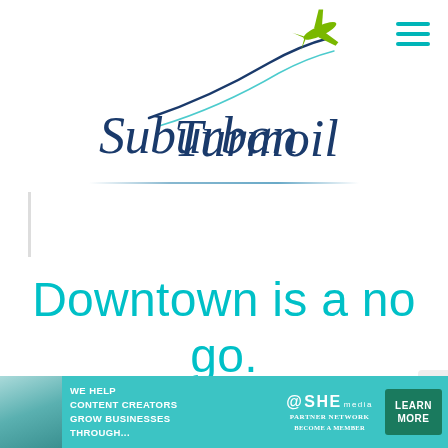[Figure (logo): Suburban Turmoil logo with script text and airplane graphic in navy/teal/green colors]
Downtown is a no go.
Nashville is known primarily for its rocking downtown, which is filled to
[Figure (other): SHE Media advertisement banner: 'We help content creators grow businesses through...' with SHE Partner Network logo and Learn More button]